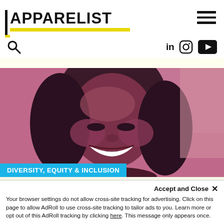APPARELIST
[Figure (logo): Apparelist logo with yellow L-bracket underline and hamburger menu icon on right]
[Figure (illustration): Navigation bar with search icon on left and LinkedIn, Instagram, YouTube social icons on right]
[Figure (photo): Portrait photo of a smiling Black woman with curly hair, rendered in pink/mauve duotone. Tag at bottom reads DIVERSITY, EQUITY & INCLUSION in white text on cyan background.]
WOMEN IN THE INDUSTRY: CHANEL ST...
Accept and Close ×
Your browser settings do not allow cross-site tracking for advertising. Click on this page to allow AdRoll to use cross-site tracking to tailor ads to you. Learn more or opt out of this AdRoll tracking by clicking here. This message only appears once.